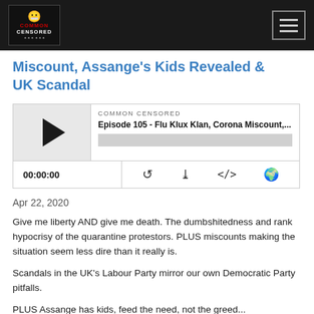Common Censored — navigation header
Miscount, Assange's Kids Revealed & UK Scandal
[Figure (screenshot): Podcast player widget for Common Censored Episode 105 - Flu Klux Klan, Corona Miscount,... showing play button, episode info, progress bar, timecode 00:00:00, and control icons]
Apr 22, 2020
Give me liberty AND give me death. The dumbshitedness and rank hypocrisy of the quarantine protestors. PLUS miscounts making the situation seem less dire than it really is.
Scandals in the UK's Labour Party mirror our own Democratic Party pitfalls.
PLUS Assange has kids, feed the need, not the greed...
Read More